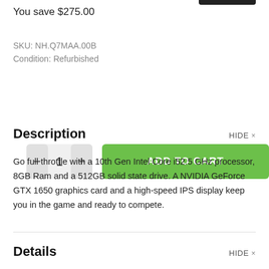You save $275.00
SKU: NH.Q7MAA.00B
Condition: Refurbished
[Figure (other): Quantity selector with minus button, 1, and plus button, next to a green ADD TO CART button]
Description
Go full throttle with a 10th Gen Intel Core i52.5 GHz processor, 8GB Ram and a 512GB solid state drive. A NVIDIA GeForce GTX 1650 graphics card and a high-speed IPS display keep you in the game and ready to compete.
Details